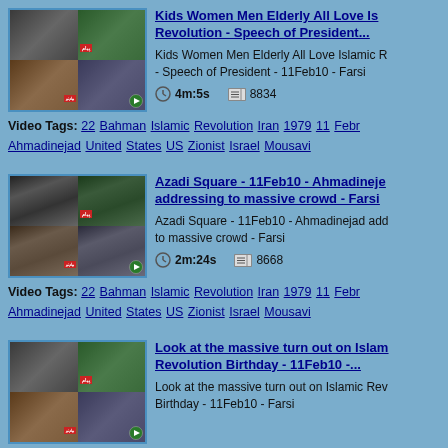[Figure (screenshot): Video thumbnail - crowd scenes grid 2x2]
Kids Women Men Elderly All Love Islamic Revolution - Speech of President...
Kids Women Men Elderly All Love Islamic Revolution - Speech of President - 11Feb10 - Farsi
4m:5s   8834
Video Tags: 22 Bahman Islamic Revolution Iran 1979 11 Febr... Ahmadinejad United States US Zionist Israel Mousavi
[Figure (screenshot): Video thumbnail - crowd with Iranian flags grid 2x2]
Azadi Square - 11Feb10 - Ahmadinejad addressing to massive crowd - Farsi
Azadi Square - 11Feb10 - Ahmadinejad addressing to massive crowd - Farsi
2m:24s   8668
Video Tags: 22 Bahman Islamic Revolution Iran 1979 11 Febr... Ahmadinejad United States US Zionist Israel Mousavi
[Figure (screenshot): Video thumbnail - crowd scenes grid 2x2]
Look at the massive turn out on Islamic Revolution Birthday - 11Feb10 -...
Look at the massive turn out on Islamic Revolution Birthday - 11Feb10 - Farsi